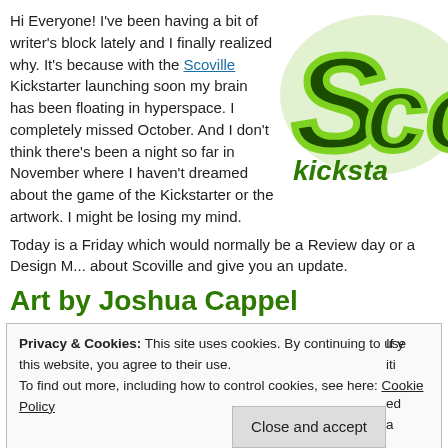Hi Everyone! I've been having a bit of writer's block lately and I finally realized why. It's because with the Scoville Kickstarter launching soon my brain has been floating in hyperspace. I completely missed October. And I don't think there's been a night so far in November where I haven't dreamed about the game of the Kickstarter or the artwork. I might be losing my mind.
[Figure (logo): Scoville Kickstarter logo — green bubbly text reading 'Sco...' with 'kicksta...' text below]
Today is a Friday which would normally be a Review day or a Design M... about Scoville and give you an update.
Art by Joshua Cappel
Privacy & Cookies: This site uses cookies. By continuing to use this website, you agree to their use. To find out more, including how to control cookies, see here: Cookie Policy  [Close and accept]  If y... iti... ed... a...
images from Scoville. The first is from Garden Dice and the second